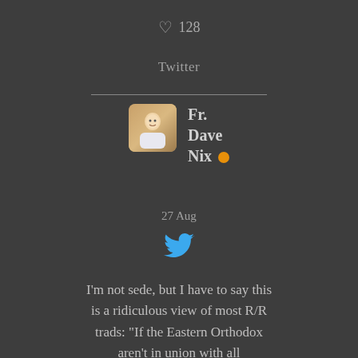♡ 128
Twitter
[Figure (photo): Profile photo of Fr. Dave Nix, a man in white clerical clothing]
Fr. Dave Nix 🟠
27 Aug
[Figure (logo): Twitter bird logo in blue]
I'm not sede, but I have to say this is a ridiculous view of most R/R trads: "If the Eastern Orthodox aren't in union with all